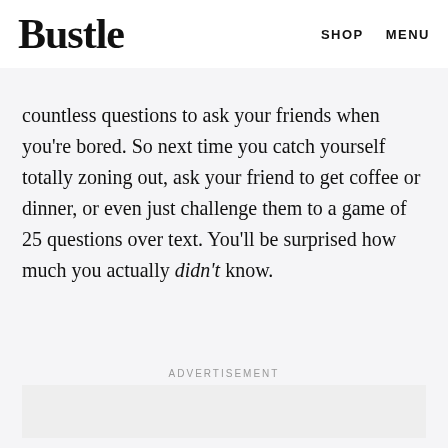Bustle   SHOP   MENU
known them forever, there are countless questions to ask your friends when you're bored. So next time you catch yourself totally zoning out, ask your friend to get coffee or dinner, or even just challenge them to a game of 25 questions over text. You'll be surprised how much you actually didn't know.
ADVERTISEMENT